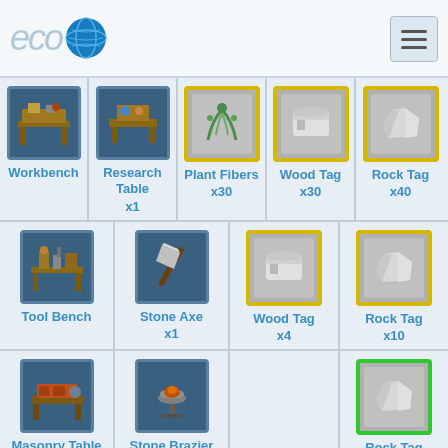[Figure (screenshot): ECO game crafting/recipe screen showing items in a grid: Workbench, Research Table x1, Plant Fibers x30, Wood Tag x30, Rock Tag x40 (row 1); Tool Bench, Stone Axe x1, Wood Tag x4, Rock Tag x10 (row 2); Masonry Table, Stone Brazier x1, Rock Tag x15 (row 3)]